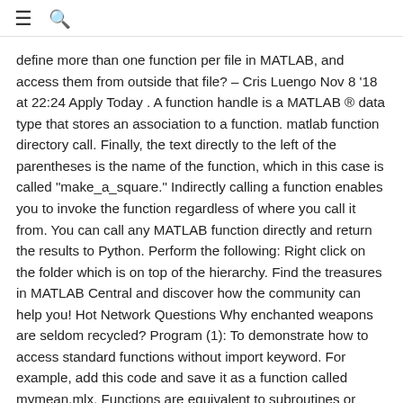≡  🔍
define more than one function per file in MATLAB, and access them from outside that file? – Cris Luengo Nov 8 '18 at 22:24 Apply Today . A function handle is a MATLAB ® data type that stores an association to a function. matlab function directory call. Finally, the text directly to the left of the parentheses is the name of the function, which in this case is called "make_a_square." Indirectly calling a function enables you to invoke the function regardless of where you call it from. You can call any MATLAB function directly and return the results to Python. Perform the following: Right click on the folder which is on top of the hierarchy. Find the treasures in MATLAB Central and discover how the community can help you! Hot Network Questions Why enchanted weapons are seldom recycled? Program (1): To demonstrate how to access standard functions without import keyword. For example, add this code and save it as a function called mymean.mlx. Functions are equivalent to subroutines or methods in other programming languages. does work in MATLAB, though. Define a function that restricts input to a numeric vector that contains no Inf